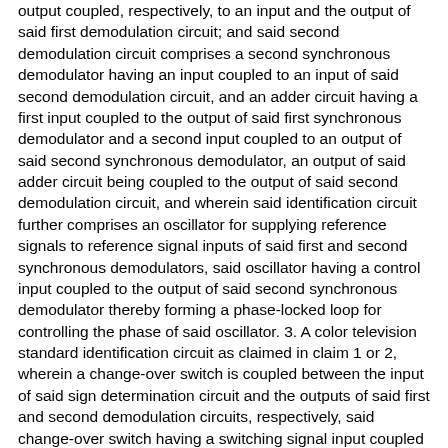output coupled, respectively, to an input and the output of said first demodulation circuit; and said second demodulation circuit comprises a second synchronous demodulator having an input coupled to an input of said second demodulation circuit, and an adder circuit having a first input coupled to the output of said first synchronous demodulator and a second input coupled to an output of said second synchronous demodulator, an output of said adder circuit being coupled to the output of said second demodulation circuit, and wherein said identification circuit further comprises an oscillator for supplying reference signals to reference signal inputs of said first and second synchronous demodulators, said oscillator having a control input coupled to the output of said second synchronous demodulator thereby forming a phase-locked loop for controlling the phase of said oscillator. 3. A color television standard identification circuit as claimed in claim 1 or 2, wherein a change-over switch is coupled between the input of said sign determination circuit and the outputs of said first and second demodulation circuits, respectively, said change-over switch having a switching signal input coupled to an output of said decoding circuit.
Description:
The invention relates to a color television standard identification circuit...